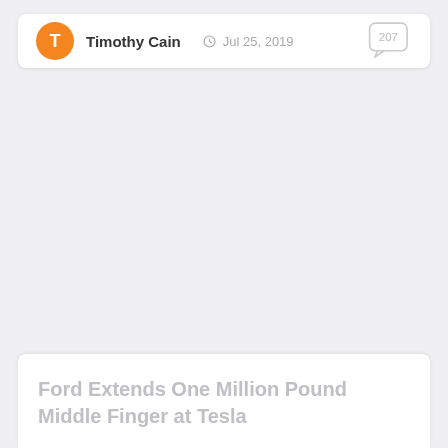Timothy Cain  Jul 25, 2019  207
Ford Extends One Million Pound Middle Finger at Tesla